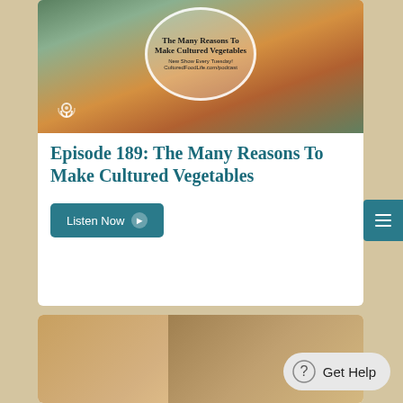[Figure (photo): Podcast episode thumbnail showing jars of cultured vegetables with text overlay: 'The Many Reasons To Make Cultured Vegetables', 'New Show Every Tuesday! CulturedFoodLife.com/podcast', and a podcast microphone icon]
Episode 189: The Many Reasons To Make Cultured Vegetables
Listen Now
[Figure (photo): Bottom card showing a partial image, likely food or health related content]